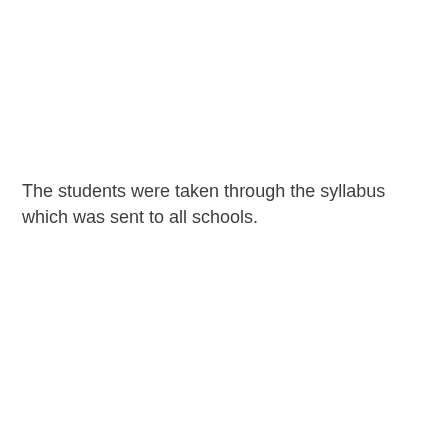The students were taken through the syllabus which was sent to all schools.